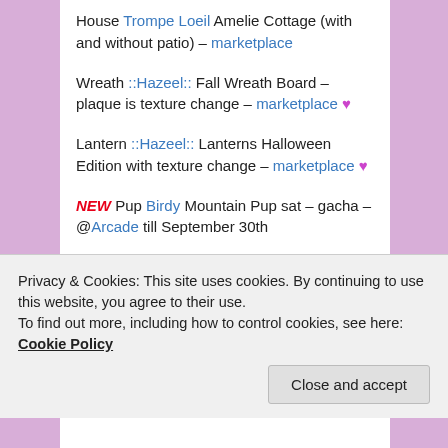House Trompe Loeil Amelie Cottage (with and without patio) – marketplace
Wreath ::Hazeel:: Fall Wreath Board – plaque is texture change – marketplace ♥
Lantern ::Hazeel:: Lanterns Halloween Edition with texture change – marketplace ♥
NEW Pup Birdy Mountain Pup sat – gacha – @Arcade till September 30th
Wheelbarrow Velvet Whip & Ginger Line –
Privacy & Cookies: This site uses cookies. By continuing to use this website, you agree to their use.
To find out more, including how to control cookies, see here: Cookie Policy
Close and accept